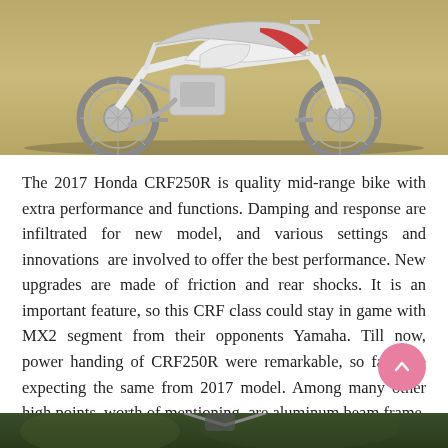[Figure (photo): 2017 Honda CRF250R dirt bike photographed on a tan/gold background, side view showing full white motorcycle with red accents]
The 2017 Honda CRF250R is quality mid-range bike with extra performance and functions. Damping and response are infiltrated for new model, and various settings and innovations are involved to offer the best performance. New upgrades are made of friction and rear shocks. It is an important feature, so this CRF class could stay in game with MX2 segment from their opponents Yamaha. Till now, power handing of CRF250R were remarkable, so fans are expecting the same from 2017 model. Among many other high points, worth of mentioning, are aluminum beam frame, fast agility and excellent stability.
[Figure (photo): Partial photo of a dirt bike rider in action on an outdoor track, cropped at bottom of page]